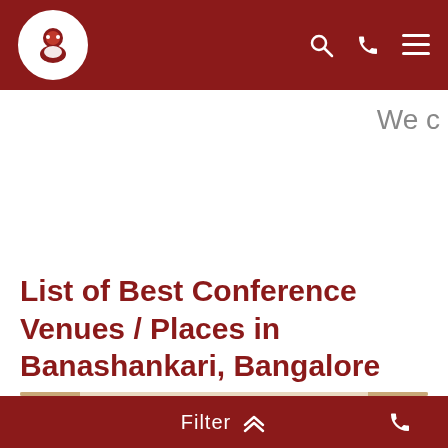Navigation bar with logo and icons (search, phone, menu)
We c
List of Best Conference Venues / Places in Banashankari, Bangalore
[Figure (photo): Interior photo of a conference room with a long table, chairs, ceiling skylight, and a framed picture on the wall]
Filter